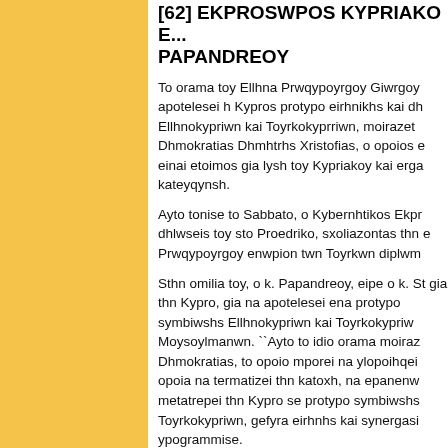[62] EKPROSWPOS KYPRIAKO E... PAPANDREOY
To orama toy Ellhna Prwqypoyrgoy Giwrgoy apotelesei h Kypros protypo eirhnikhs kai dh Ellhnokypriwn kai Toyrkokyprriwn, moirazet Dhmokratias Dhmhtrhs Xristofias, o opoios e einai etoimos gia lysh toy Kypriakoy kai erga kateyqynsh.
Ayto tonise to Sabbato, o Kybernhtikos Ekpr dhlwseis toy sto Proedriko, sxoliazontas thn e Prwqypoyrgoy enwpion twn Toyrkwn diplwm
Sthn omilia toy, o k. Papandreoy, eipe o k. St gia thn Kypro, gia na apotelesei ena protypo symbiwshs Ellhnokypriwn kai Toyrkokypriw Moysoylmanwn. ``Ayto to idio orama moiraz Dhmokratias, to opoio mporei na ylopoihqei opoia na termatizei thn katoxh, na epanenw metatrepei thn Kypro se protypo symbiwshs Toyrkokypriwn, gefyra eirhnhs kai synergasi ypogrammise.
O k. Stefanoy shmeiwse oti gia ayth th lysh e Dhmokratias ``me iokagaros gosois arxwn gi